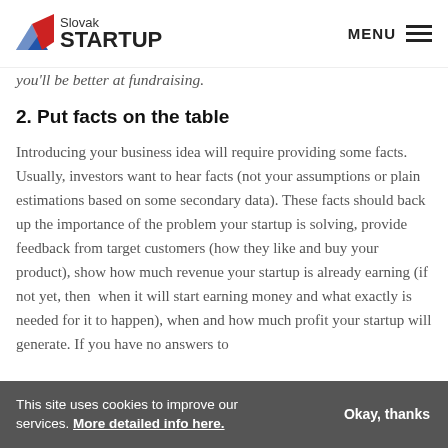Slovak STARTUP — MENU
business model. Just remember, ending the meeting with a … on the investor's side is not the story. It's just a lesson to be learned, and the next day you'll be better at fundraising.
2. Put facts on the table
Introducing your business idea will require providing some facts. Usually, investors want to hear facts (not your assumptions or plain estimations based on some secondary data). These facts should back up the importance of the problem your startup is solving, provide feedback from target customers (how they like and buy your product), show how much revenue your startup is already earning (if not yet, then  when it will start earning money and what exactly is needed for it to happen), when and how much profit your startup will generate. If you have no answers to
This site uses cookies to improve our services. More detailed info here. Okay, thanks